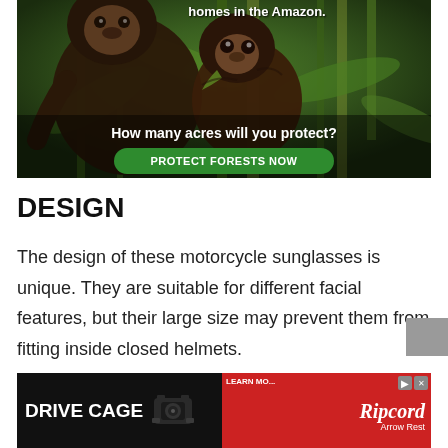[Figure (photo): Advertisement showing two monkeys (capuchins) in the Amazon rainforest among bamboo and green leaves. White bold text reads 'homes in the Amazon.' at the top right, and 'How many acres will you protect?' near the bottom. A green rounded button reads 'PROTECT FORESTS NOW'.]
DESIGN
The design of these motorcycle sunglasses is unique. They are suitable for different facial features, but their large size may prevent them from fitting inside closed helmets.
[Figure (photo): Advertisement banner for 'DRIVE CAGE' product. Left side has black background with white bold text 'DRIVE CAGE' and an image of a camera mount device. Right side is red with 'LEARN MORE' text, Ripcord Arrow Rest logo in white italic text, and AdChoices icon.]